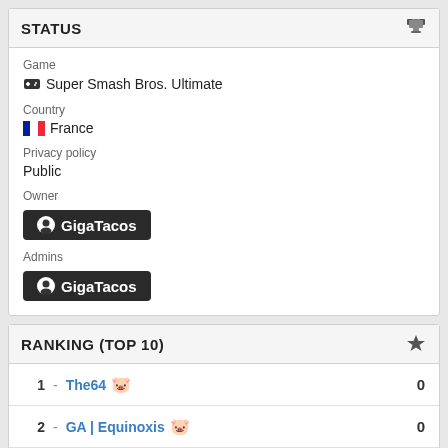STATUS
Game
Super Smash Bros. Ultimate
Country
France
Privacy policy
Public
Owner
GigaTacos
Admins
GigaTacos
RANKING (TOP 10)
1 - The64 0
2 - GA | Equinoxis 0
3 - Xeto 0
4 - Silverxs83 0